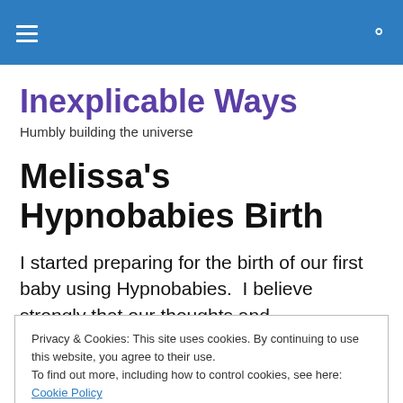Inexplicable Ways — navigation header bar
Inexplicable Ways
Humbly building the universe
Melissa's Hypnobabies Birth
I started preparing for the birth of our first baby using Hypnobabies.  I believe strongly that our thoughts and
Privacy & Cookies: This site uses cookies. By continuing to use this website, you agree to their use.
To find out more, including how to control cookies, see here: Cookie Policy